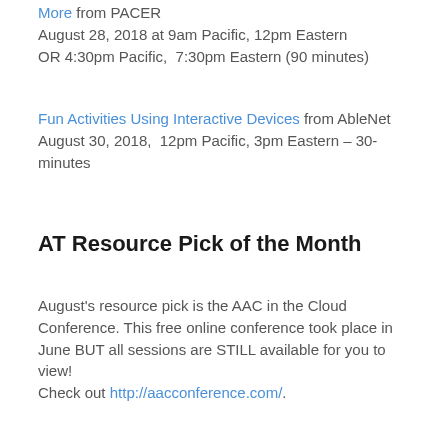More from PACER
August 28, 2018 at 9am Pacific, 12pm Eastern
OR 4:30pm Pacific,  7:30pm Eastern (90 minutes)
Fun Activities Using Interactive Devices from AbleNet
August 30, 2018,  12pm Pacific, 3pm Eastern – 30-minutes
AT Resource Pick of the Month
August's resource pick is the AAC in the Cloud Conference. This free online conference took place in June BUT all sessions are STILL available for you to view!
Check out http://aacconference.com/.